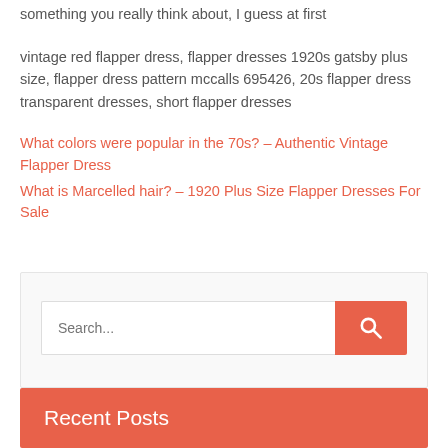something you really think about, I guess at first
vintage red flapper dress, flapper dresses 1920s gatsby plus size, flapper dress pattern mccalls 695426, 20s flapper dress transparent dresses, short flapper dresses
What colors were popular in the 70s? – Authentic Vintage Flapper Dress
What is Marcelled hair? – 1920 Plus Size Flapper Dresses For Sale
[Figure (screenshot): Search widget with a text input field showing placeholder 'Search...' and a salmon/red search button with magnifying glass icon]
Recent Posts